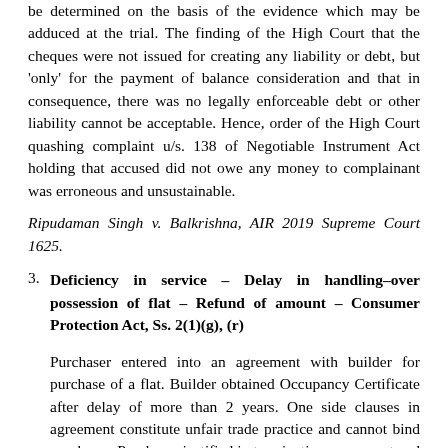be determined on the basis of the evidence which may be adduced at the trial. The finding of the High Court that the cheques were not issued for creating any liability or debt, but 'only' for the payment of balance consideration and that in consequence, there was no legally enforceable debt or other liability cannot be acceptable. Hence, order of the High Court quashing complaint u/s. 138 of Negotiable Instrument Act holding that accused did not owe any money to complainant was erroneous and unsustainable.
Ripudaman Singh v. Balkrishna, AIR 2019 Supreme Court 1625.
3. Deficiency in service – Delay in handling–over possession of flat – Refund of amount – Consumer Protection Act, Ss. 2(1)(g), (r)
Purchaser entered into an agreement with builder for purchase of a flat. Builder obtained Occupancy Certificate after delay of more than 2 years. One side clauses in agreement constitute unfair trade practice and cannot bind purchaser. Purchaser justified in terminating agreement and cannot be compelled to accept possession. Purchaser entitled to refund of entire amount deposited by him with interest @ 10.7% p.a.